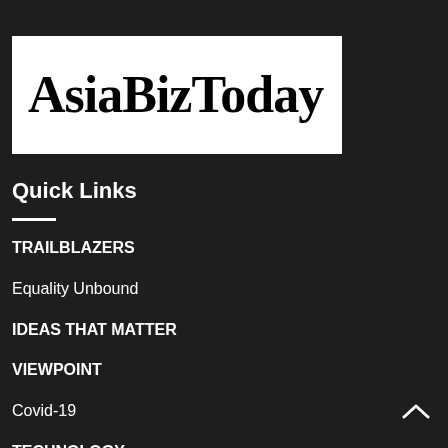[Figure (logo): AsiaBizToday logo — white rectangle with bold serif black text reading AsiaBizToday]
Quick Links
TRAILBLAZERS
Equality Unbound
IDEAS THAT MATTER
VIEWPOINT
Covid-19
TECHNOLOGY
EDUCATION
COMPANIES & MARKETS